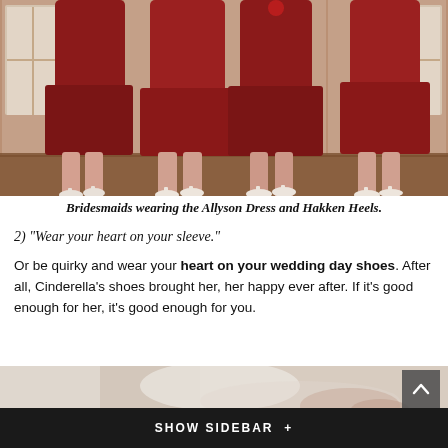[Figure (photo): Three bridesmaids wearing red/maroon dresses and white heeled shoes, standing against a wood-paneled wall, shown from waist down]
Bridesmaids wearing the Allyson Dress and Hakken Heels.
2) "Wear your heart on your sleeve."
Or be quirky and wear your heart on your wedding day shoes. After all, Cinderella's shoes brought her, her happy ever after. If it's good enough for her, it's good enough for you.
[Figure (photo): Close-up of a bride in white dress, cropped image at bottom of page]
SHOW SIDEBAR +